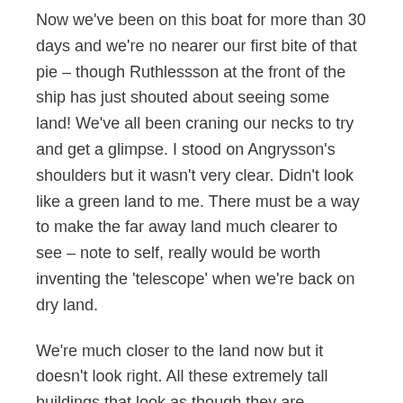Now we've been on this boat for more than 30 days and we're no nearer our first bite of that pie – though Ruthlessson at the front of the ship has just shouted about seeing some land! We've all been craning our necks to try and get a glimpse. I stood on Angrysson's shoulders but it wasn't very clear. Didn't look like a green land to me. There must be a way to make the far away land much clearer to see – note to self, really would be worth inventing the 'telescope' when we're back on dry land.
We're much closer to the land now but it doesn't look right. All these extremely tall buildings that look as though they are scraping the sky. We're not landing as it looks highly suspect. The lads have